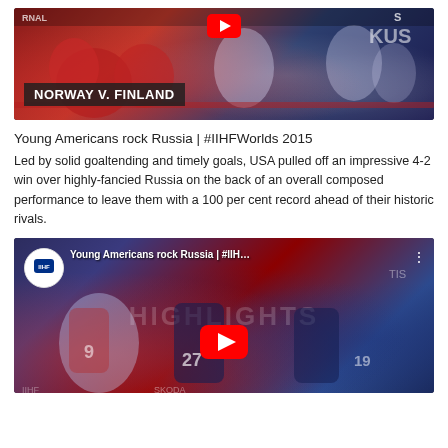[Figure (screenshot): YouTube video thumbnail for Norway v. Finland ice hockey match, showing players on ice in red Norway jerseys, with 'NORWAY V. FINLAND' text overlay and YouTube play button icon at top]
Young Americans rock Russia | #IIHFWorlds 2015
Led by solid goaltending and timely goals, USA pulled off an impressive 4-2 win over highly-fancied Russia on the back of an overall composed performance to leave them with a 100 per cent record ahead of their historic rivals.
[Figure (screenshot): YouTube video thumbnail for 'Young Americans rock Russia | #IIH...' showing ice hockey players in action, with IIHF channel logo bubble, HIGHLIGHTS text watermark, YouTube play button, and three-dots menu icon]